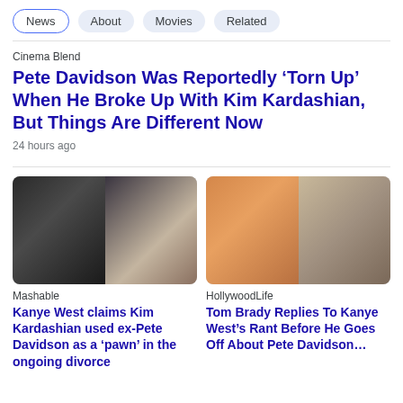News | About | Movies | Related
Cinema Blend
Pete Davidson Was Reportedly ‘Torn Up’ When He Broke Up With Kim Kardashian, But Things Are Different Now
24 hours ago
[Figure (photo): Left: Kanye West in dark hoodie pointing. Right: Pete Davidson and Kim Kardashian at formal event, she in beige gown.]
Mashable
Kanye West claims Kim Kardashian used ex-Pete Davidson as a ‘pawn’ in the ongoing divorce
[Figure (photo): Left: Tom Brady in orange jersey with number 12. Right: Kanye West in gray suit holding microphone.]
HollywoodLife
Tom Brady Replies To Kanye West’s Rant Before He Goes Off About Pete Davidson…